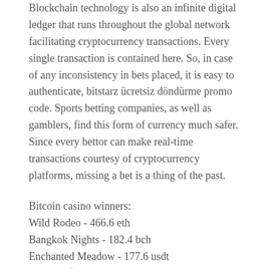Blockchain technology is also an infinite digital ledger that runs throughout the global network facilitating cryptocurrency transactions. Every single transaction is contained here. So, in case of any inconsistency in bets placed, it is easy to authenticate, bitstarz ücretsiz döndürme promo code. Sports betting companies, as well as gamblers, find this form of currency much safer. Since every bettor can make real-time transactions courtesy of cryptocurrency platforms, missing a bet is a thing of the past.
Bitcoin casino winners:
Wild Rodeo - 466.6 eth
Bangkok Nights - 182.4 bch
Enchanted Meadow - 177.6 usdt
Pagoda of Fortune - 163.7 usdt
Lady of Fortune - 583.1 dog
Booming Bars - 188.7 bch
Genie Wishes - 666.6 usdt